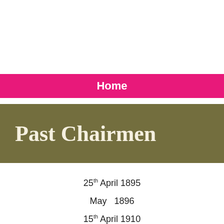Home
Past Chairmen
25th April 1895
May  1896
15th April 1910